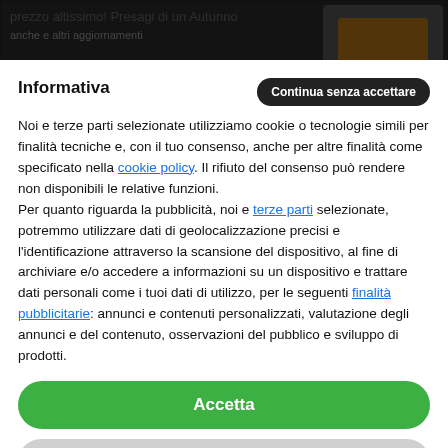[Figure (screenshot): Dark background webpage content partially visible behind cookie consent modal, showing blurred Italian news article text and thumbnail images]
Informativa
Noi e terze parti selezionate utilizziamo cookie o tecnologie simili per finalità tecniche e, con il tuo consenso, anche per altre finalità come specificato nella cookie policy. Il rifiuto del consenso può rendere non disponibili le relative funzioni.
Per quanto riguarda la pubblicità, noi e terze parti selezionate, potremmo utilizzare dati di geolocalizzazione precisi e l'identificazione attraverso la scansione del dispositivo, al fine di archiviare e/o accedere a informazioni su un dispositivo e trattare dati personali come i tuoi dati di utilizzo, per le seguenti finalità pubblicitarie: annunci e contenuti personalizzati, valutazione degli annunci e del contenuto, osservazioni del pubblico e sviluppo di prodotti.
Accetta
Scopri di più e personalizza